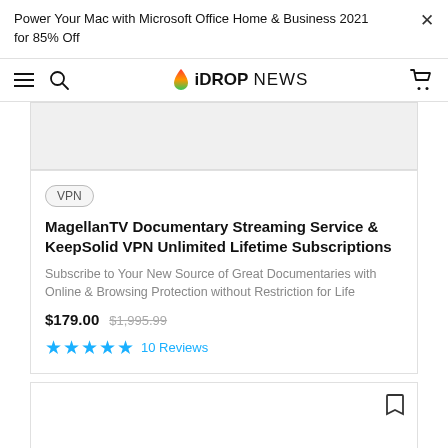Power Your Mac with Microsoft Office Home & Business 2021 for 85% Off
[Figure (logo): iDROPNEWS logo with flame/drop icon]
VPN
MagellanTV Documentary Streaming Service & KeepSolid VPN Unlimited Lifetime Subscriptions
Subscribe to Your New Source of Great Documentaries with Online & Browsing Protection without Restriction for Life
$179.00  $1,995.99  ★★★★★  10 Reviews